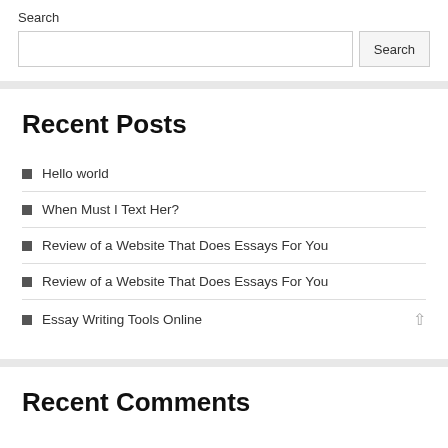Search
Recent Posts
Hello world
When Must I Text Her?
Review of a Website That Does Essays For You
Review of a Website That Does Essays For You
Essay Writing Tools Online
Recent Comments